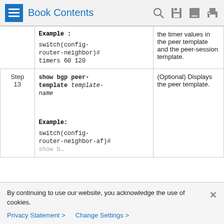Book Contents
|  | Command or Action | Purpose |
| --- | --- | --- |
|  | Example :
switch(config-router-neighbor)#
timers 60 120 | the timer values in the peer template and the peer-session template. |
| Step 13 | show bgp peer-template template-name

Example:
switch(config-router-neighbor-af)# | (Optional) Displays the peer template. |
By continuing to use our website, you acknowledge the use of cookies.
Privacy Statement > Change Settings >